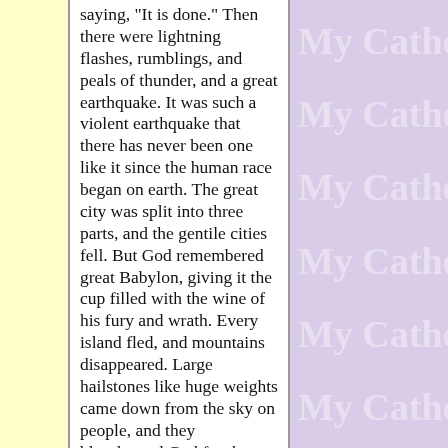saying, 'It is done.' Then there were lightning flashes, rumblings, and peals of thunder, and a great earthquake. It was such a violent earthquake that there has never been one like it since the human race began on earth. The great city was split into three parts, and the gentile cities fell. But God remembered great Babylon, giving it the cup filled with the wine of his fury and wrath. Every island fled, and mountains disappeared. Large hailstones like huge weights came down from the sky on people, and they blasphemed God for the plague of hail because this plague was so severe. [RV 16:16-21]
[Figure (other): Repeated watermark text 'My Catho' on purple background, appearing 6 times vertically]